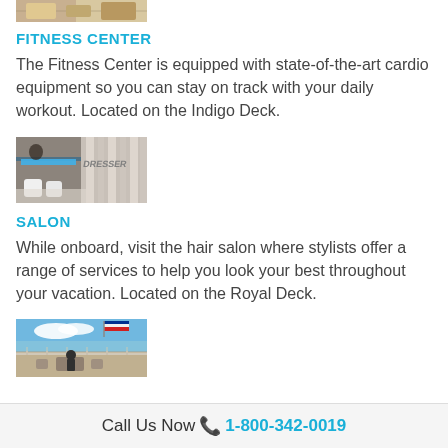[Figure (photo): Partial top image of fitness center equipment]
FITNESS CENTER
The Fitness Center is equipped with state-of-the-art cardio equipment so you can stay on track with your daily workout. Located on the Indigo Deck.
[Figure (photo): Interior of a hair salon/hairdresser with chairs and striped walls]
SALON
While onboard, visit the hair salon where stylists offer a range of services to help you look your best throughout your vacation. Located on the Royal Deck.
[Figure (photo): Outdoor deck area with flags and outdoor seating on a sunny day]
Call Us Now 📞 1-800-342-0019